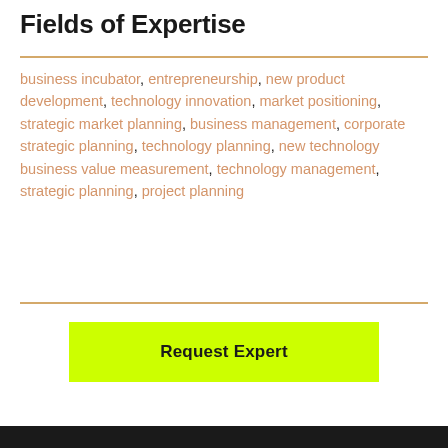Fields of Expertise
business incubator, entrepreneurship, new product development, technology innovation, market positioning, strategic market planning, business management, corporate strategic planning, technology planning, new technology business value measurement, technology management, strategic planning, project planning
Request Expert